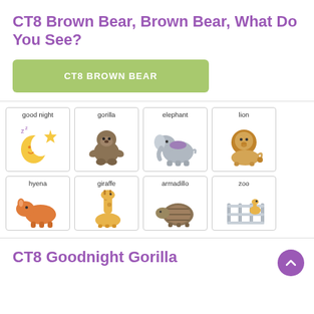CT8 Brown Bear, Brown Bear, What Do You See?
CT8 BROWN BEAR
[Figure (illustration): Grid of animal/vocabulary cards: good night (moon and star), gorilla, elephant, lion in top row; hyena, giraffe, armadillo, zoo in bottom row (partially visible)]
CT8 Goodnight Gorilla